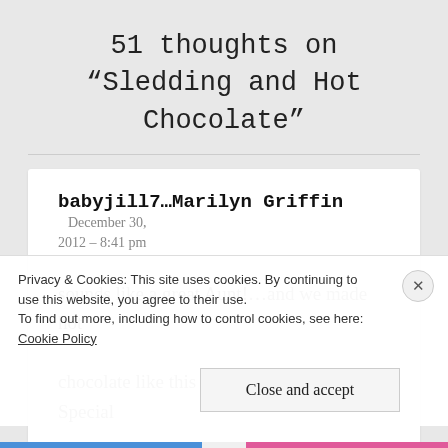51 thoughts on “Sledding and Hot Chocolate”
babyjill7…Marilyn Griffin  December 30, 2012 – 8:41 pm
sounds like a great Aunt!…and we made hot chocolate like this at school with our Special
Privacy & Cookies: This site uses cookies. By continuing to use this website, you agree to their use.
To find out more, including how to control cookies, see here: Cookie Policy
Close and accept